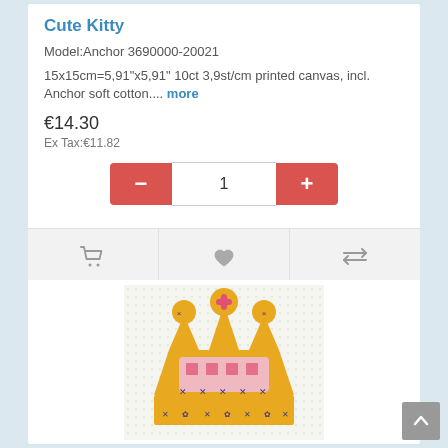Cute Kitty
Model:Anchor 3690000-20021
15x15cm=5,91"x5,91" 10ct 3,9st/cm printed canvas, incl. Anchor soft cotton.... more
€14.30
Ex Tax:€11.82
[Figure (screenshot): Product quantity selector with minus and plus buttons and quantity input field showing 1]
[Figure (screenshot): Action bar with cart, heart/wishlist, and compare icons]
[Figure (photo): Cross-stitch embroidery image showing a crown with yellow, pink, and purple stitching on white canvas]